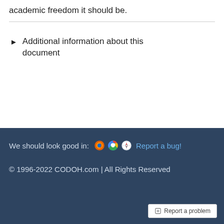academic freedom it should be.
▶ Additional information about this document
We should look good in: [browser icons] Report a bug!
© 1996-2022 CODOH.com | All Rights Reserved